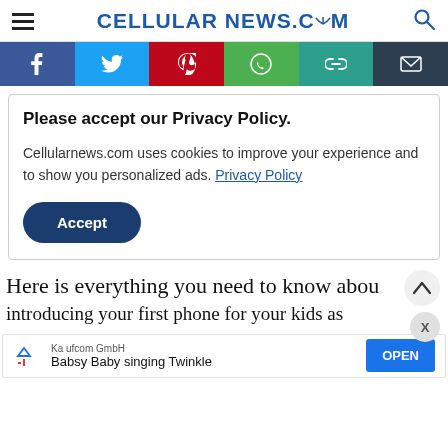CELLULARNEWS.COM
[Figure (screenshot): Social media share bar with Facebook, Twitter, Pinterest, WhatsApp, copy link, and email icons]
Please accept our Privacy Policy.
Cellularnews.com uses cookies to improve your experience and to show you personalized ads. Privacy Policy
Accept
Here is everything you need to know about introducing your first phone for your kids as
[Figure (screenshot): Advertisement banner: Kaufcom GmbH - Babsy Baby singing Twinkle with OPEN button]